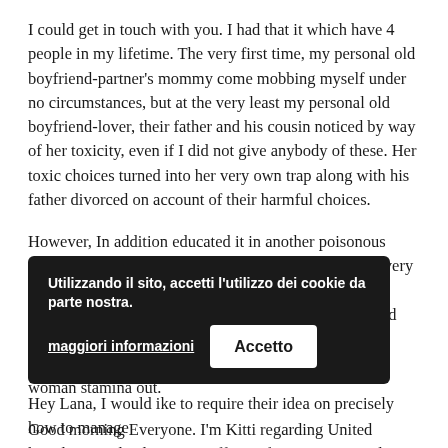I could get in touch with you. I had that it which have 4 people in my lifetime. The very first time, my personal old boyfriend-partner's mommy come mobbing myself under no circumstances, but at the very least my personal old boyfriend-lover, their father and his cousin noticed by way of her toxicity, even if I did not give anybody of these. Her toxic choices turned into her very own trap along with his father divorced on account of their harmful choices.
However, In addition educated it in another poisonous way, on character of the de- a horror towards almost every other step 3 ex-partners, since the she did not should eradicate command over myself. She attempted to build my personal old boyfriend-lovers breakup with me, however, we fought back together, to help you take the woman stamina out.
Good morning Everyone. I'm Kitti regarding United kingdom. And i also were suffering from my personal beast in-law getting 5 years. I am planning to surrender my personal relationships. I must tell my personal tale in order that their understanding would be delicious.
Utilizzando il sito, accetti l'utilizzo dei cookie da parte nostra.
Hey Lana, I would ike to require their idea on precisely how to manage